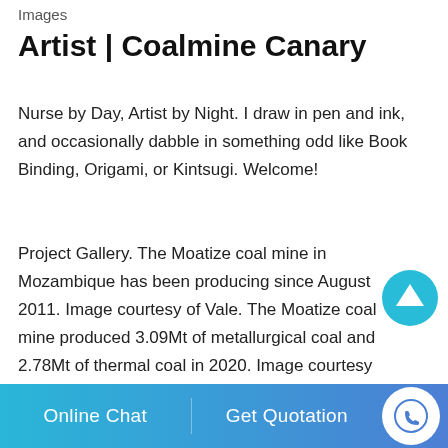Images
Artist | Coalmine Canary
Nurse by Day, Artist by Night. I draw in pen and ink, and occasionally dabble in something odd like Book Binding, Origami, or Kintsugi. Welcome!
Project Gallery. The Moatize coal mine in Mozambique has been producing since August 2011. Image courtesy of Vale. The Moatize coal mine produced 3.09Mt of metallurgical coal and 2.78Mt of thermal coal in 2020. Image courtesy of Vale. Moatize is Vale's first greenfield project in
The Victorian Gallery examines what mining was like in the 19th
Online Chat   Get Quotation